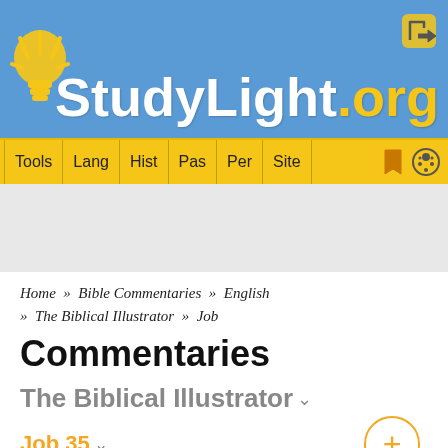[Figure (logo): StudyLight.org website header with blue background, lightbulb icon, logo text 'StudyLight.org' in white and yellow, login icon top right]
Tools  Lang  Hist  Pas  Per  Site
Home » Bible Commentaries » English » The Biblical Illustrator » Job
Commentaries
The Biblical Illustrator
Job 35
[Figure (other): Ads Free badge (orange-red rounded rectangle with person icon) and a partially visible ad box at the bottom]